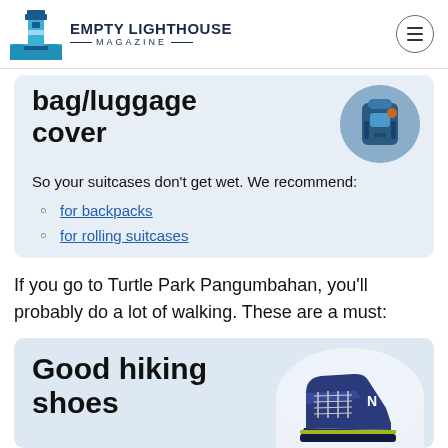EMPTY LIGHTHOUSE MAGAZINE
bag/luggage cover
So your suitcases don't get wet. We recommend:
for backpacks
for rolling suitcases
If you go to Turtle Park Pangumbahan, you'll probably do a lot of walking. These are a must:
Good hiking shoes